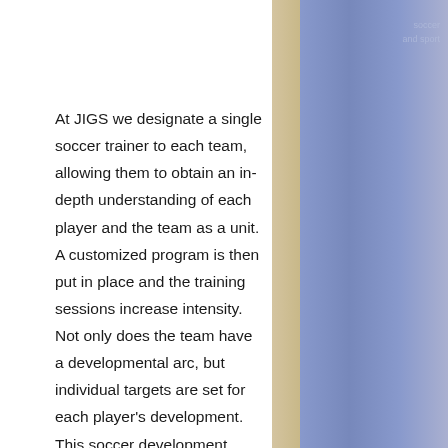At JIGS we designate a single soccer trainer to each team, allowing them to obtain an in-depth understanding of each player and the team as a unit. A customized program is then put in place and the training sessions increase intensity. Not only does the team have a developmental arc, but individual targets are set for each player's development. This soccer development strategy ensures that JIGS trained teams continue to develop and advance their gameplay in order to excel at every opportunity.